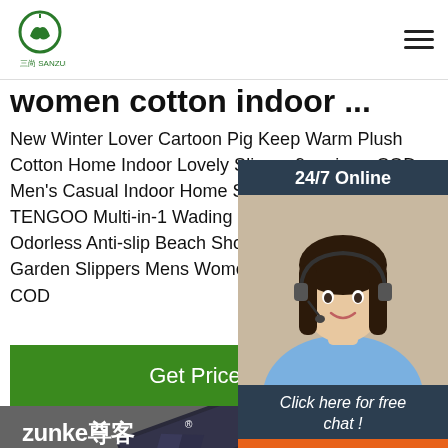三尚 SANZUN logo and hamburger menu
women cotton indoor ...
New Winter Lover Cartoon Pig Keep Warm Plush Cotton Home Indoor Lovely Slipper 9 reviews COD Men's Casual Indoor Home Slippers 2 reviews COD TENGOO Multi-in-1 Wading Shoes Breathable Odorless Anti-slip Beach Shoes Sandals Home Garden Slippers Mens Womens Slippers 2 reviews COD
[Figure (other): 24/7 Online customer support chat widget with photo of woman with headset, 'Click here for free chat!' text, and QUOTATION button]
Get Price
[Figure (photo): Zunke brand product image on dark background showing a hair straightener/styling tool and brush]